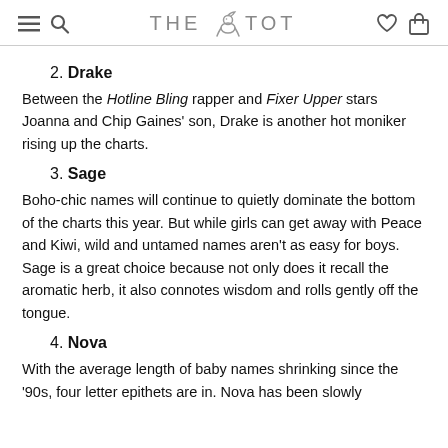THE TOT
2. Drake
Between the Hotline Bling rapper and Fixer Upper stars Joanna and Chip Gaines' son, Drake is another hot moniker rising up the charts.
3. Sage
Boho-chic names will continue to quietly dominate the bottom of the charts this year. But while girls can get away with Peace and Kiwi, wild and untamed names aren't as easy for boys. Sage is a great choice because not only does it recall the aromatic herb, it also connotes wisdom and rolls gently off the tongue.
4. Nova
With the average length of baby names shrinking since the '90s, four letter epithets are in. Nova has been slowly